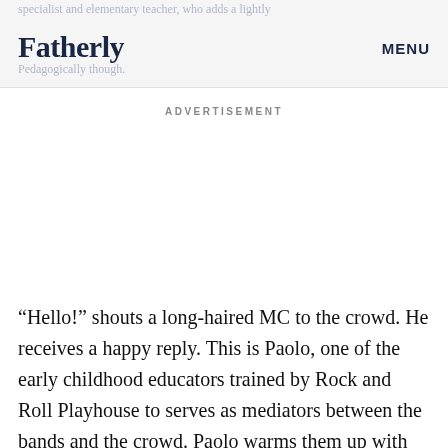specialist and elementary teacher, who adds a lightly pedagogical touch. | Fatherly | MENU
ADVERTISEMENT
“Hello!” shouts a long-haired MC to the crowd. He receives a happy reply. This is Paolo, one of the early childhood educators trained by Rock and Roll Playhouse to serves as mediators between the bands and the crowd. Paolo warms them up with jumps and shouts. He hands out shakers. “Shake it to the East!” he says. The kids shake indiscriminately. “To the